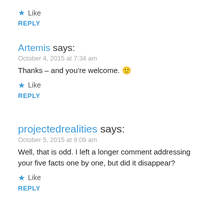★ Like
REPLY
Artemis says:
October 4, 2015 at 7:34 am
Thanks – and you're welcome. 🙂
★ Like
REPLY
projectedrealities says:
October 5, 2015 at 9:09 am
Well, that is odd. I left a longer comment addressing your five facts one by one, but did it disappear?
★ Like
REPLY